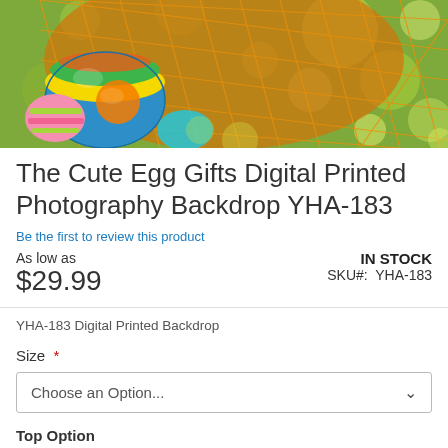[Figure (photo): Colorful Easter eggs in an orange mesh basket on a bokeh green background]
The Cute Egg Gifts Digital Printed Photography Backdrop YHA-183
Be the first to review this product
As low as
$29.99
IN STOCK
SKU#:  YHA-183
YHA-183 Digital Printed Backdrop
Size *
Choose an Option...
Top Option
None